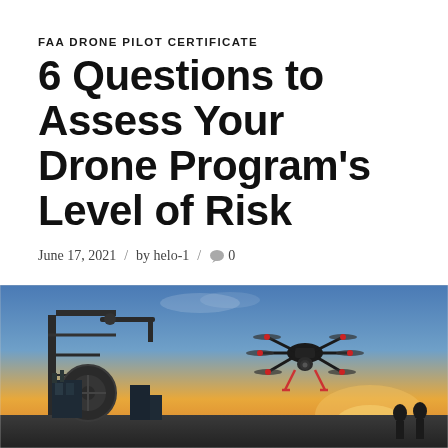FAA DRONE PILOT CERTIFICATE
6 Questions to Assess Your Drone Program's Level of Risk
June 17, 2021 / by helo-1 / 0
[Figure (photo): A large multi-rotor drone (hexacopter) flying near industrial oil field equipment at dusk, with machinery and a pump jack in the background and a warm sunset sky]